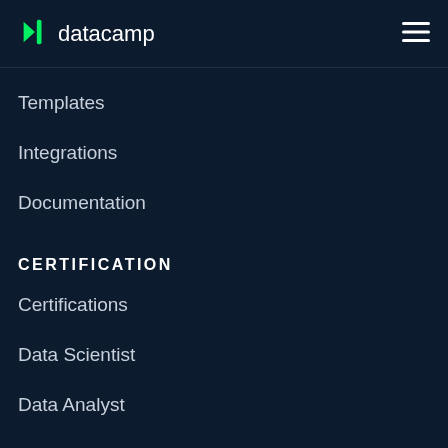datacamp
Templates
Integrations
Documentation
CERTIFICATION
Certifications
Data Scientist
Data Analyst
Hire Data Professionals
RESOURCES